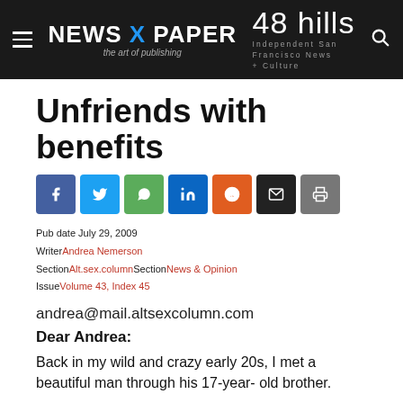NEWS X PAPER the art of publishing | 48 hills Independent San Francisco News + Culture
Unfriends with benefits
[Figure (infographic): Social share buttons: Facebook, Twitter, WhatsApp, LinkedIn, Reddit, Email, Print]
Pub date July 29, 2009
Writer Andrea Nemerson
Section Alt.sex.column Section News & Opinion
Issue Volume 43, Index 45
andrea@mail.altsexcolumn.com
Dear Andrea:
Back in my wild and crazy early 20s, I met a beautiful man through his 17-year- old brother.